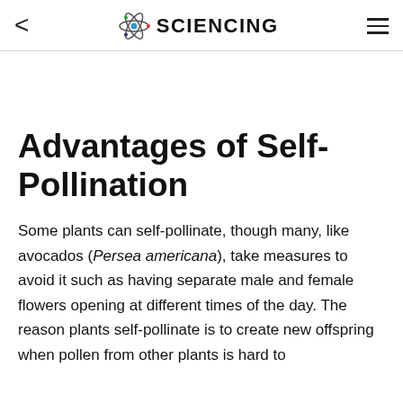SCIENCING
Advantages of Self-Pollination
Some plants can self-pollinate, though many, like avocados (Persea americana), take measures to avoid it such as having separate male and female flowers opening at different times of the day. The reason plants self-pollinate is to create new offspring when pollen from other plants is hard to